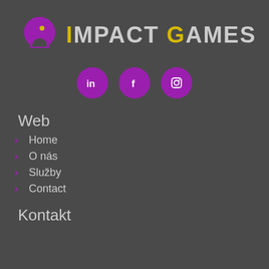[Figure (logo): Impact Games logo with purple pin/marker icon and text IMPACT GAMES where I and G are yellow]
[Figure (infographic): Three purple circular social media icons: LinkedIn (in), Facebook (f), Instagram (camera icon)]
Web
Home
O nás
Služby
Contact
Kontakt